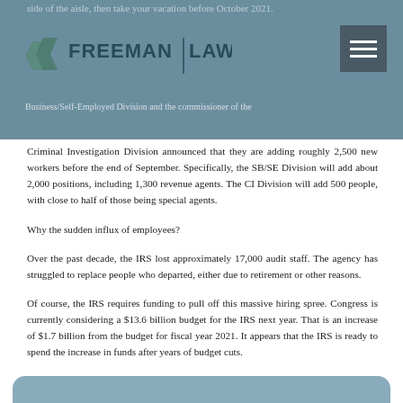side of the aisle, then take your vacation before October 2021.
[Figure (logo): Freeman Law logo with stylized double-F icon and text 'FREEMAN LAW']
commissioners of IRS's Business/Self-Employed Division and the commissioner of the Criminal Investigation Division announced that they are adding roughly 2,500 new workers before the end of September. Specifically, the SB/SE Division will add about 2,000 positions, including 1,300 revenue agents. The CI Division will add 500 people, with close to half of those being special agents.
Why the sudden influx of employees?
Over the past decade, the IRS lost approximately 17,000 audit staff. The agency has struggled to replace people who departed, either due to retirement or other reasons.
Of course, the IRS requires funding to pull off this massive hiring spree. Congress is currently considering a $13.6 billion budget for the IRS next year. That is an increase of $1.7 billion from the budget for fiscal year 2021. It appears that the IRS is ready to spend the increase in funds after years of budget cuts.